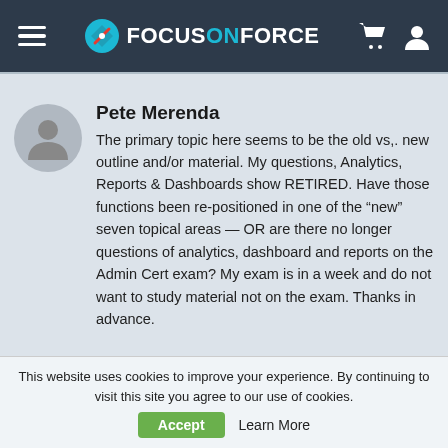FocusOnForce
Pete Merenda
The primary topic here seems to be the old vs,. new outline and/or material. My questions, Analytics, Reports & Dashboards show RETIRED. Have those functions been re-positioned in one of the “new” seven topical areas — OR are there no longer questions of analytics, dashboard and reports on the Admin Cert exam? My exam is in a week and do not want to study material not on the exam. Thanks in advance.
This website uses cookies to improve your experience. By continuing to visit this site you agree to our use of cookies.